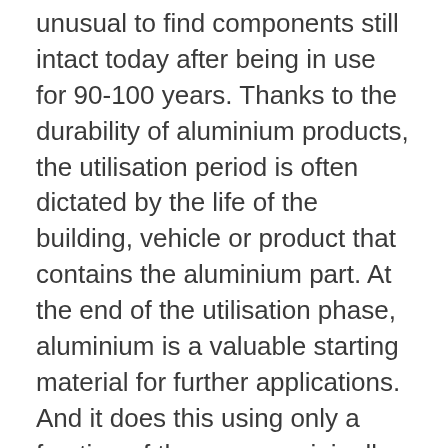unusual to find components still intact today after being in use for 90-100 years. Thanks to the durability of aluminium products, the utilisation period is often dictated by the life of the building, vehicle or product that contains the aluminium part. At the end of the utilisation phase, aluminium is a valuable starting material for further applications. And it does this using only a fraction of the energy originally needed. This means that it is not beyond the bounds of possibility that the aluminium from grandma’s milk churn is being used today in the engine block of her grandson’s car. And the grandson is unknowingly using aluminium that his own grandson will also use one day. This is because aluminium is not consumed